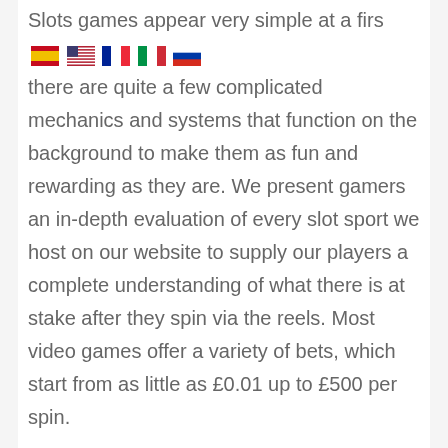Slots games appear very simple at a first glance, there are quite a few complicated mechanics and systems that function on the background to make them as fun and rewarding as they are. We present gamers an in-depth evaluation of every slot sport we host on our website to supply our players a complete understanding of what there is at stake after they spin via the reels. Most video games offer a variety of bets, which start from as little as £0.01 up to £500 per spin.
Trying to supply the most effective to our players we provide an enormous number of video games ourselves, including the most effective slots which are being launched on a weekly basis. Experience